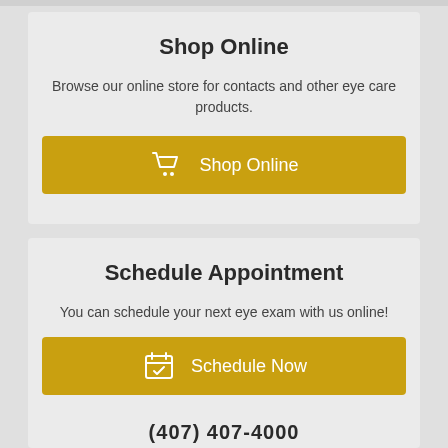Shop Online
Browse our online store for contacts and other eye care products.
[Figure (other): Gold button with shopping cart icon and text 'Shop Online']
Schedule Appointment
You can schedule your next eye exam with us online!
[Figure (other): Gold button with calendar/checkmark icon and text 'Schedule Now']
(407) 407-4000